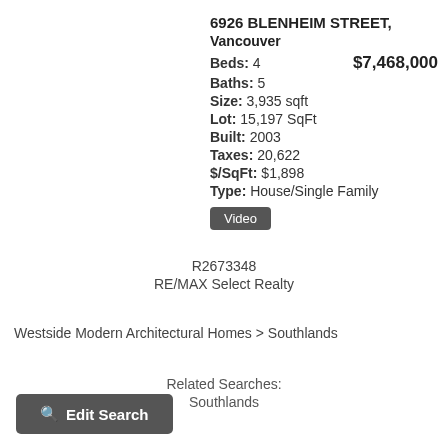6926 BLENHEIM STREET,
Vancouver
Beds: 4    $7,468,000
Baths: 5
Size: 3,935 sqft
Lot: 15,197 SqFt
Built: 2003
Taxes: 20,622
$/SqFt: $1,898
Type: House/Single Family
Video
R2673348
RE/MAX Select Realty
Westside Modern Architectural Homes > Southlands
Related Searches:
Southlands
Edit Search